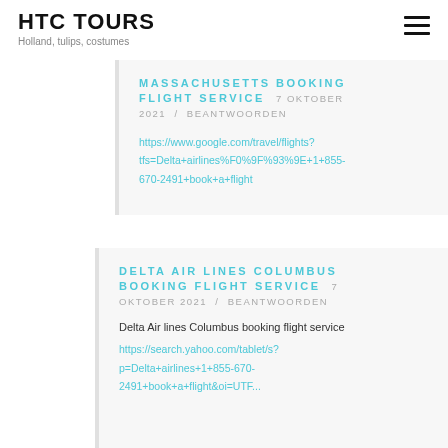HTC TOURS
Holland, tulips, costumes
MASSACHUSETTS BOOKING FLIGHT SERVICE
7 OKTOBER 2021 / BEANTWOORDEN
https://www.google.com/travel/flights?tfs=Delta+airlines%F0%9F%93%9E+1+855-670-2491+book+a+flight
DELTA AIR LINES COLUMBUS BOOKING FLIGHT SERVICE
7 OKTOBER 2021 / BEANTWOORDEN
Delta Air lines Columbus booking flight service https://search.yahoo.com/tablet/s?p=Delta+airlines+1+855-670-2491+book+a+flight&oi=UTF...